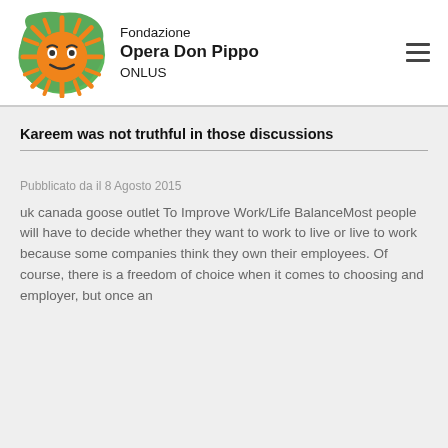[Figure (logo): Fondazione Opera Don Pippo ONLUS logo — orange sun-like figure with face on green background, with organization name text]
Kareem was not truthful in those discussions
Pubblicato da il 8 Agosto 2015
uk canada goose outlet To Improve Work/Life BalanceMost people will have to decide whether they want to work to live or live to work because some companies think they own their employees. Of course, there is a freedom of choice when it comes to choosing and employer, but once an